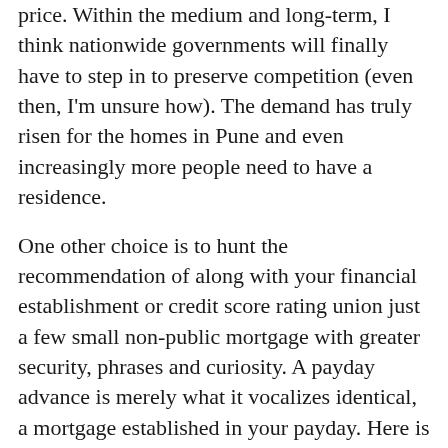price. Within the medium and long-term, I think nationwide governments will finally have to step in to preserve competition (even then, I'm unsure how). The demand has truly risen for the homes in Pune and even increasingly more people need to have a residence.
One other choice is to hunt the recommendation of along with your financial establishment or credit score rating union just a few small non-public mortgage with greater security, phrases and curiosity. A payday advance is merely what it vocalizes identical, a mortgage established in your payday. Here is how our cash advance loans work: you fill out our fast on-line utility.i made a purchase order order with a financial institution of america credit card that i infrequently use, then i forgot about it. The three-day festival's troubles started earlier this year when their financial backer Dentsu Aegis Network's AmpifiLive pulled out in April over…